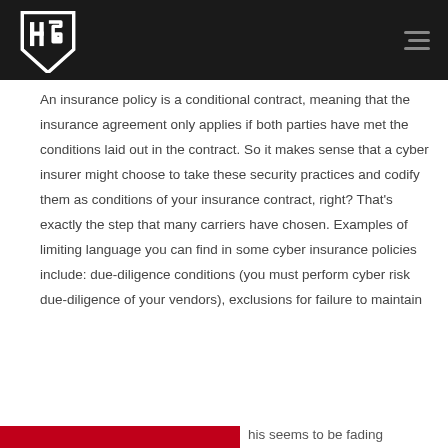HG [logo]
An insurance policy is a conditional contract, meaning that the insurance agreement only applies if both parties have met the conditions laid out in the contract. So it makes sense that a cyber insurer might choose to take these security practices and codify them as conditions of your insurance contract, right? That's exactly the step that many carriers have chosen. Examples of limiting language you can find in some cyber insurance policies include: due-diligence conditions (you must perform cyber risk due-diligence of your vendors), exclusions for failure to maintain
his seems to be fading